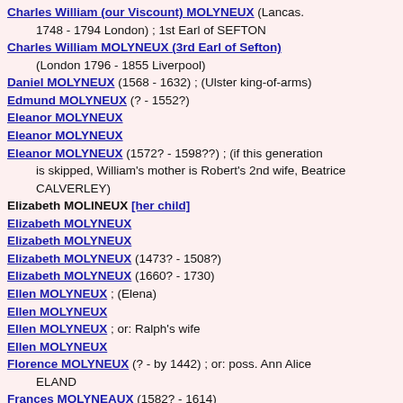Charles William (our Viscount) MOLYNEUX (Lancas. 1748 - 1794 London) ; 1st Earl of SEFTON
Charles William MOLYNEUX (3rd Earl of Sefton) (London 1796 - 1855 Liverpool)
Daniel MOLYNEUX (1568 - 1632) ; (Ulster king-of-arms)
Edmund MOLYNEUX (? - 1552?)
Eleanor MOLYNEUX
Eleanor MOLYNEUX
Eleanor MOLYNEUX (1572? - 1598??) ; (if this generation is skipped, William's mother is Robert's 2nd wife, Beatrice CALVERLEY)
Elizabeth MOLINEUX [her child]
Elizabeth MOLYNEUX
Elizabeth MOLYNEUX
Elizabeth MOLYNEUX (1473? - 1508?)
Elizabeth MOLYNEUX (1660? - 1730)
Ellen MOLYNEUX ; (Elena)
Ellen MOLYNEUX
Ellen MOLYNEUX ; or: Ralph's wife
Ellen MOLYNEUX
Florence MOLYNEUX (? - by 1442) ; or: poss. Ann Alice ELAND
Frances MOLYNEAUX (1582? - 1614)
Frances MOLYNEUX (? - 1565?) ; (MOLYNEAU)
Francis (4th Baronet of Teversall) MOLYNEUX
Francis MOLYNEUX